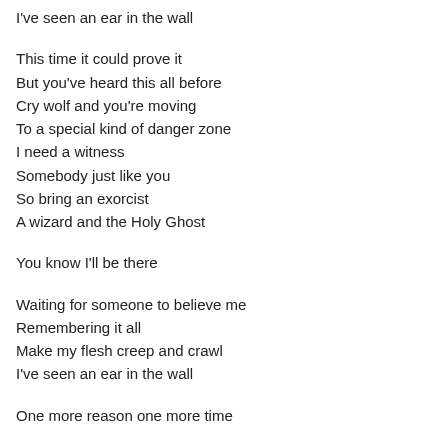I've seen an ear in the wall
This time it could prove it
But you've heard this all before
Cry wolf and you're moving
To a special kind of danger zone
I need a witness
Somebody just like you
So bring an exorcist
A wizard and the Holy Ghost
You know I'll be there
Waiting for someone to believe me
Remembering it all
Make my flesh creep and crawl
I've seen an ear in the wall
One more reason one more time